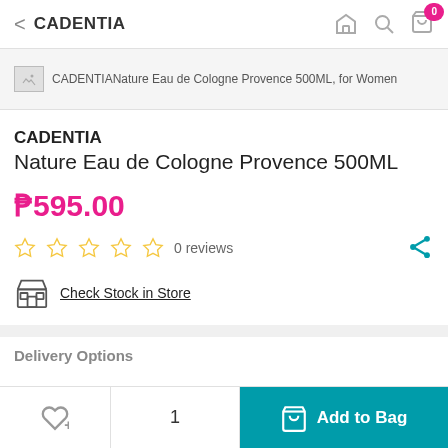CADENTIA
[Figure (photo): Broken image placeholder for CADENTIA Nature Eau de Cologne Provence 500ML, for Women]
CADENTIA
Nature Eau de Cologne Provence 500ML
₱595.00
0 reviews
Check Stock in Store
Delivery Options
Add to Bag